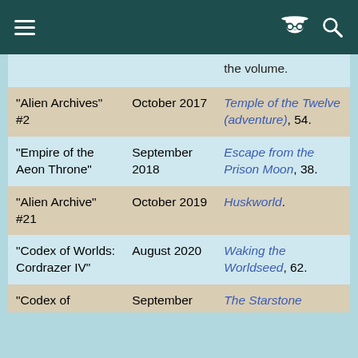| Article | Date | Source |
| --- | --- | --- |
| "Alien Archives" #2 | October 2017 | Temple of the Twelve (adventure), 54. |
| "Empire of the Aeon Throne" | September 2018 | Escape from the Prison Moon, 38. |
| "Alien Archive" #21 | October 2019 | Huskworld. |
| "Codex of Worlds: Cordrazer IV" | August 2020 | Waking the Worldseed, 62. |
| "Codex of | September | The Starstone |